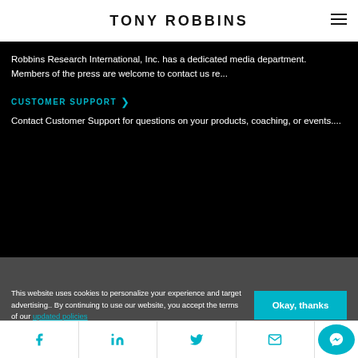TONY ROBBINS
Robbins Research International, Inc. has a dedicated media department. Members of the press are welcome to contact us re...
CUSTOMER SUPPORT
Contact Customer Support for questions on your products, coaching, or events....
This website uses cookies to personalize your experience and target advertising.. By continuing to use our website, you accept the terms of our updated policies
Social icons: Facebook, LinkedIn, Twitter, Email, Messenger